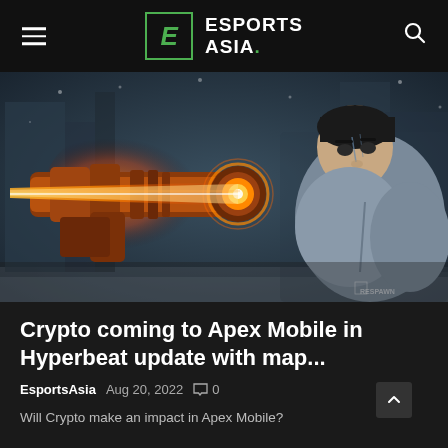ESPORTS ASIA.
[Figure (illustration): Apex Legends character Crypto in a combat pose holding a large orange mechanical weapon with a glowing beam, wearing a grey jacket and green shirt, snowy background, Respawn Entertainment watermark in lower right.]
Crypto coming to Apex Mobile in Hyperbeat update with map...
EsportsAsia  Aug 20, 2022  0
Will Crypto make an impact in Apex Mobile?